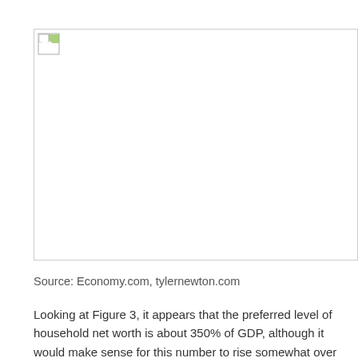[Figure (other): A broken/missing image placeholder representing Figure 3 (a chart related to household net worth as percentage of GDP)]
Source: Economy.com, tylernewton.com
Looking at Figure 3, it appears that the preferred level of household net worth is about 350% of GDP, although it would make sense for this number to rise somewhat over the next decade as the baby